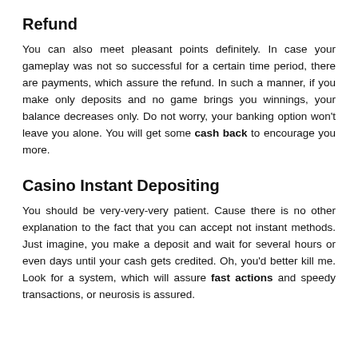Refund
You can also meet pleasant points definitely. In case your gameplay was not so successful for a certain time period, there are payments, which assure the refund. In such a manner, if you make only deposits and no game brings you winnings, your balance decreases only. Do not worry, your banking option won't leave you alone. You will get some cash back to encourage you more.
Casino Instant Depositing
You should be very-very-very patient. Cause there is no other explanation to the fact that you can accept not instant methods. Just imagine, you make a deposit and wait for several hours or even days until your cash gets credited. Oh, you'd better kill me. Look for a system, which will assure fast actions and speedy transactions, or neurosis is assured.